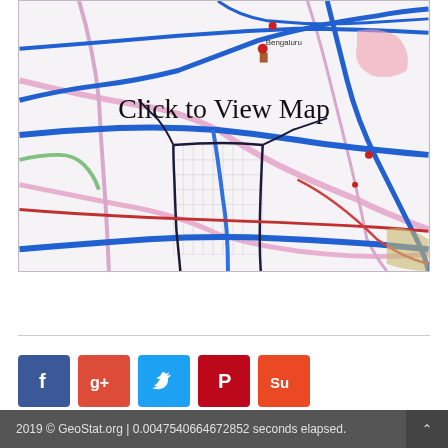[Figure (map): Interactive map of Bengaluru city area showing road networks with blue highways, pink/red arterial roads, and street grid. Overlaid with 'Click to View Map' text. Label 'Bengaluru' visible near top center.]
Click to View Map
[Figure (other): Social sharing buttons row: Facebook (f), Google+ (g+), Twitter (bird/t), Pinterest (P), StumbleUpon (su)]
2019 © GeoStat.org | 0.0047540664672852 seconds elapsed.